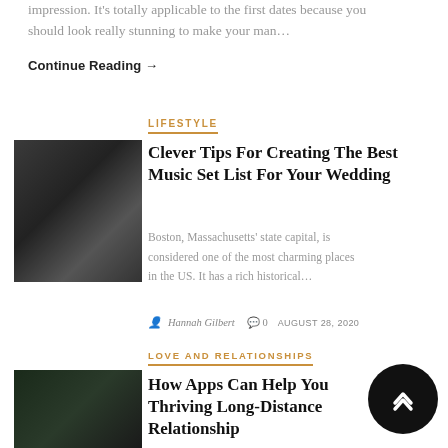impression. It's totally applicable to the first dates because you should look really stunning to make your man…
Continue Reading →
LIFESTYLE
[Figure (photo): People dressed formally at a wedding event]
Clever Tips For Creating The Best Music Set List For Your Wedding
Boston, Massachusetts' state capital, is considered one of the most charming places in the US. It has a rich historical…
Hannah Gilbert  0  AUGUST 28, 2020
LOVE AND RELATIONSHIPS
[Figure (photo): Person working on a laptop]
How Apps Can Help Your Thriving Long-Distance Relationship